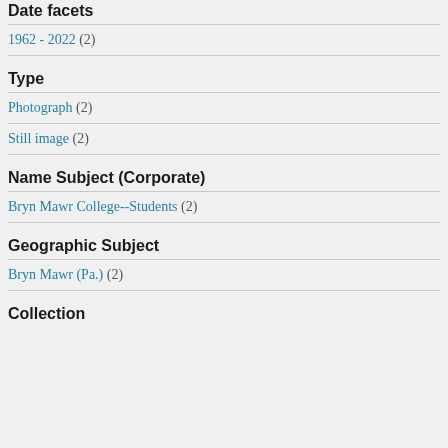Date facets
1962 - 2022 (2)
Type
Photograph (2)
Still image (2)
Name Subject (Corporate)
Bryn Mawr College--Students (2)
Geographic Subject
Bryn Mawr (Pa.) (2)
Collection